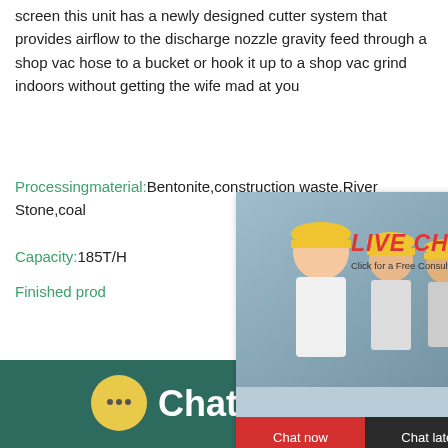screen this unit has a newly designed cutter system that provides airflow to the discharge nozzle gravity feed through a shop vac hose to a bucket or hook it up to a shop vac grind indoors without getting the wife mad at you
Processingmaterial: Bentonite,construction waste,River Stone,coal
Capacity: 185T/H
Finished prod… hour online
[Figure (screenshot): Live chat popup overlay showing workers in hard hats, LIVE CHAT title in red italic, 'Click for a Free Consultation' subtitle, Chat now and Chat later buttons, and a cone crusher machine image on the right panel with 'Click me to chat>>' button]
[Figure (photo): Background landscape photo showing mountains and sky with a worker figure in the lower center]
Chat Online